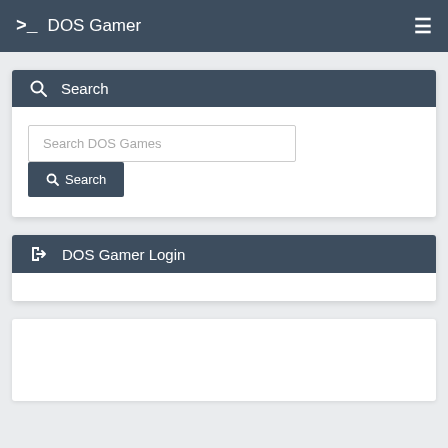>_ DOS Gamer ≡
Search
Search DOS Games
Search
DOS Gamer Login
[Figure (other): White rectangular box, likely an advertisement or placeholder content area]